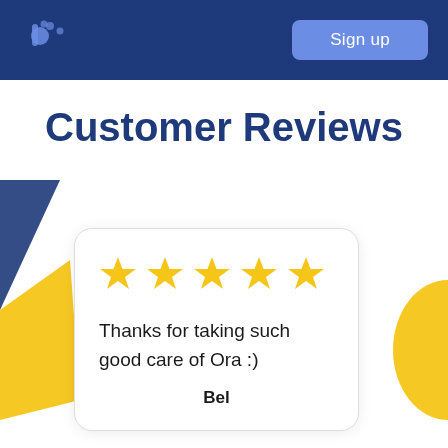Sign up
Customer Reviews
[Figure (illustration): Yellow and navy blue decorative geometric shapes on left and right sides of the page]
Thanks for taking such good care of Ora :)
Reviewer name (partially visible)